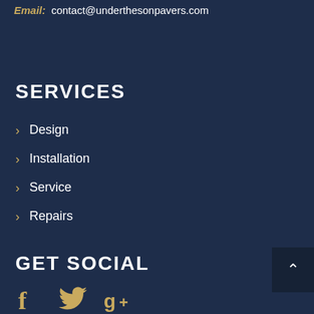Email: contact@underthesonpavers.com
SERVICES
Design
Installation
Service
Repairs
GET SOCIAL
[Figure (illustration): Social media icons: Facebook, Twitter, Google+]